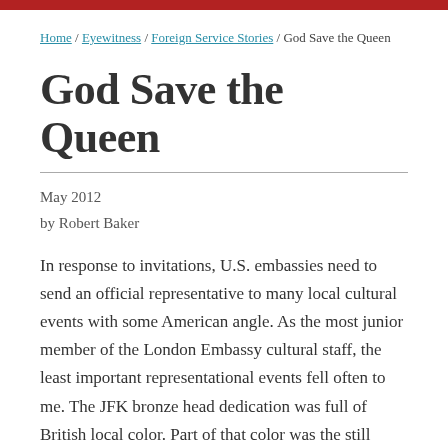Home / Eyewitness / Foreign Service Stories / God Save the Queen
God Save the Queen
May 2012
by Robert Baker
In response to invitations, U.S. embassies need to send an official representative to many local cultural events with some American angle. As the most junior member of the London Embassy cultural staff, the least important representational events fell often to me. The JFK bronze head dedication was full of British local color. Part of that color was the still